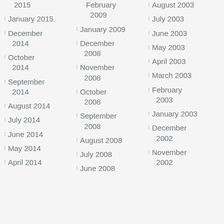2015
January 2015
December 2014
October 2014
September 2014
August 2014
July 2014
June 2014
May 2014
April 2014
February 2009
January 2009
December 2008
November 2008
October 2008
September 2008
August 2008
July 2008
June 2008
August 2003
July 2003
June 2003
May 2003
April 2003
March 2003
February 2003
January 2003
December 2002
November 2002